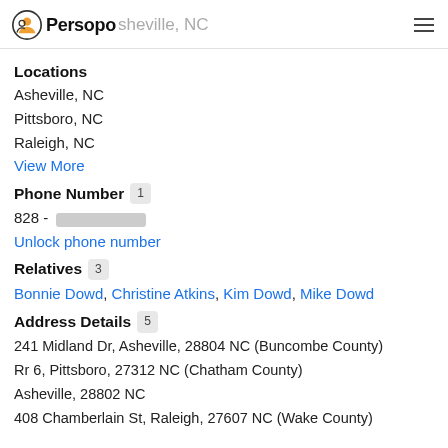Persopo — Asheville, NC
Locations
Asheville, NC
Pittsboro, NC
Raleigh, NC
View More
Phone Number  1
828 - [redacted]
Unlock phone number
Relatives  3
Bonnie Dowd, Christine Atkins, Kim Dowd, Mike Dowd
Address Details  5
241 Midland Dr, Asheville, 28804 NC (Buncombe County)
Rr 6, Pittsboro, 27312 NC (Chatham County)
Asheville, 28802 NC
408 Chamberlain St, Raleigh, 27607 NC (Wake County)
[partially visible address, Asheville, 28804 NC (Buncombe...)]